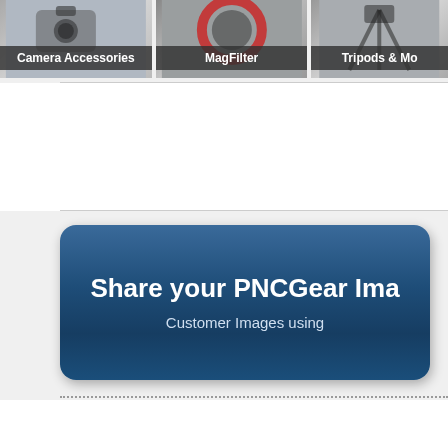[Figure (screenshot): Category navigation strip with three items: Camera Accessories, MagFilter, Tripods & Mo(re). Each shows a product photo thumbnail with a dark label overlay at the bottom.]
[Figure (infographic): A rounded rectangular banner with blue gradient background. Large bold white text reads 'Share your PNCGear Ima(ges)' and smaller text below reads 'Customer Images using']